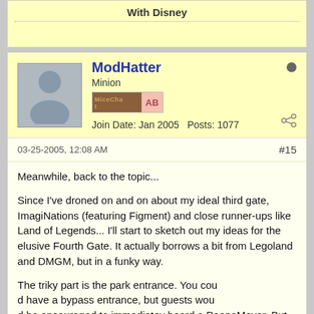With Disney
ModHatter
Minion
Join Date: Jan 2005  Posts: 1077
03-25-2005, 12:08 AM
#15
Meanwhile, back to the topic...

Since I've droned on and on about my ideal third gate, ImagiNations (featuring Figment) and close runner-ups like Land of Legends... I'll start to sketch out my ideas for the elusive Fourth Gate. It actually borrows a bit from Legoland and DMGM, but in a funky way.

The triky part is the park entrance. You cou d have a bypass entrance, but guests wou d be encouraged to immediatey board a PeopeMover. But, as we soon discover, this PeopeMover is actuay comprised of revamped AtomMobies. You ride through a modernized ATIS, but as you near the end, you encounter a mafunction. They can't return you to fu size. However, throughout the day, you wi eventuay grow back to fu size, though unti your measures are stoke, you may